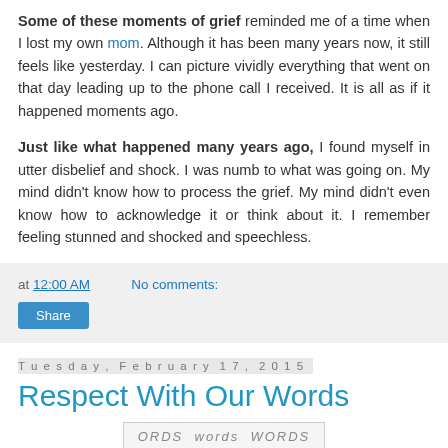Some of these moments of grief reminded me of a time when I lost my own mom. Although it has been many years now, it still feels like yesterday. I can picture vividly everything that went on that day leading up to the phone call I received. It is all as if it happened moments ago.
Just like what happened many years ago, I found myself in utter disbelief and shock. I was numb to what was going on. My mind didn't know how to process the grief. My mind didn't even know how to acknowledge it or think about it. I remember feeling stunned and shocked and speechless.
at 12:00 AM   No comments:
Share
Tuesday, February 17, 2015
Respect With Our Words
[Figure (other): Repeating text pattern image showing the word WORDS in various cases and styles]